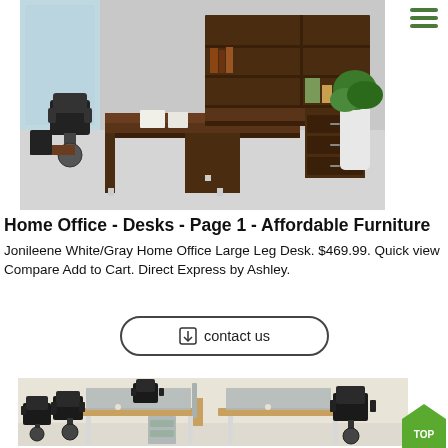[Figure (photo): Photo of a dark walnut executive L-shaped desk with hutch bookcase and office chair in a modern office setting]
Home Office - Desks - Page 1 - Affordable Furniture
Jonileene White/Gray Home Office Large Leg Desk. $469.99. Quick view Compare Add to Cart. Direct Express by Ashley.
contact us
[Figure (photo): Photo of a modern 4-person office workstation with wood desks, gray divider panels, and black office chairs]